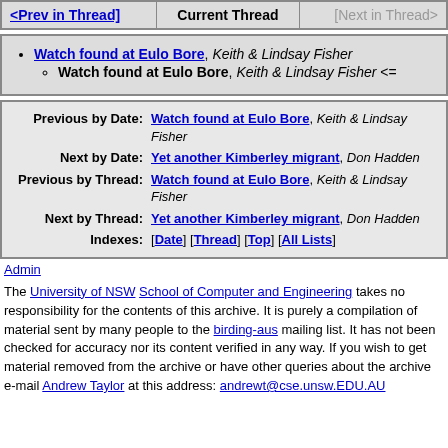| <Prev in Thread] | Current Thread | [Next in Thread> |
| --- | --- | --- |
Watch found at Eulo Bore, Keith & Lindsay Fisher
Watch found at Eulo Bore, Keith & Lindsay Fisher <=
| Previous by Date: | Watch found at Eulo Bore, Keith & Lindsay Fisher |
| Next by Date: | Yet another Kimberley migrant, Don Hadden |
| Previous by Thread: | Watch found at Eulo Bore, Keith & Lindsay Fisher |
| Next by Thread: | Yet another Kimberley migrant, Don Hadden |
| Indexes: | [Date] [Thread] [Top] [All Lists] |
Admin
The University of NSW School of Computer and Engineering takes no responsibility for the contents of this archive. It is purely a compilation of material sent by many people to the birding-aus mailing list. It has not been checked for accuracy nor its content verified in any way. If you wish to get material removed from the archive or have other queries about the archive e-mail Andrew Taylor at this address: andrewt@cse.unsw.EDU.AU